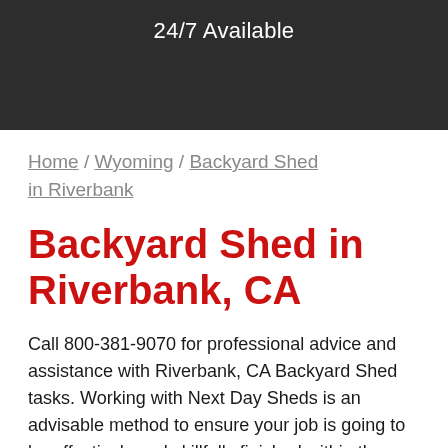24/7 Available
Home / Wyoming / Backyard Shed in Riverbank
Backyard Shed in Riverbank, CA
Call 800-381-9070 for professional advice and assistance with Riverbank, CA Backyard Shed tasks. Working with Next Day Sheds is an advisable method to ensure your job is going to be effectively and skillfully finished within the